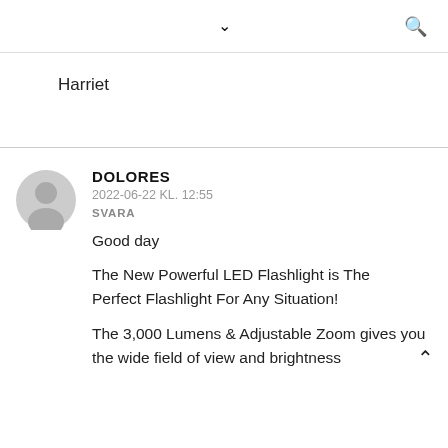▼ 🔍
Harriet
DOLORES
2022-06-22 KL. 12:55
SVARA

Good day

The New Powerful LED Flashlight is The Perfect Flashlight For Any Situation!

The 3,000 Lumens & Adjustable Zoom gives you the wide field of view and brightness